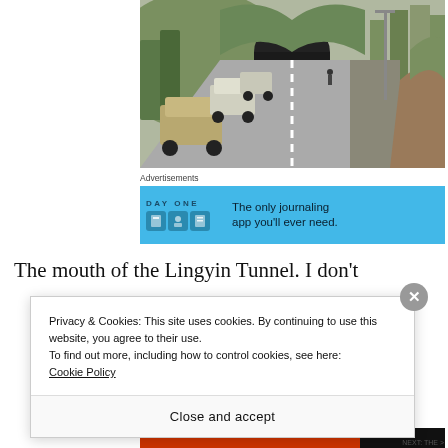[Figure (photo): Road leading to the mouth of the Lingyin Tunnel, with cars queued on the left lane and a pedestrian walkway on the right, trees and hillside in background.]
Advertisements
[Figure (screenshot): Advertisement banner for Day One journaling app. Blue background with app icons on left and text: 'The only journaling app you'll ever need.' on the right.]
The mouth of the Lingyin Tunnel.  I don't
Privacy & Cookies: This site uses cookies. By continuing to use this website, you agree to their use.
To find out more, including how to control cookies, see here:
Cookie Policy
Close and accept